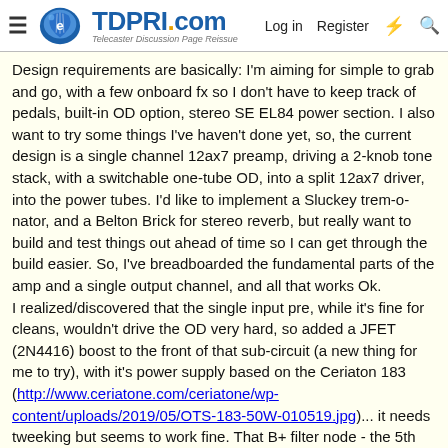TDPRI.com — Telecaster Discussion Page Reissue | Log in | Register
Design requirements are basically: I'm aiming for simple to grab and go, with a few onboard fx so I don't have to keep track of pedals, built-in OD option, stereo SE EL84 power section. I also want to try some things I've haven't done yet, so, the current design is a single channel 12ax7 preamp, driving a 2-knob tone stack, with a switchable one-tube OD, into a split 12ax7 driver, into the power tubes. I'd like to implement a Sluckey trem-o-nator, and a Belton Brick for stereo reverb, but really want to build and test things out ahead of time so I can get through the build easier. So, I've breadboarded the fundamental parts of the amp and a single output channel, and all that works Ok.
I realized/discovered that the single input pre, while it's fine for cleans, wouldn't drive the OD very hard, so added a JFET (2N4416) boost to the front of that sub-circuit (a new thing for me to try), with it's power supply based on the Ceriaton 183 (http://www.ceriatone.com/ceriatone/wp-content/uploads/2019/05/OTS-183-50W-010519.jpg)... it needs tweeking but seems to work fine. That B+ filter node - the 5th node in a standard-enough power supply design - makes 25vdc